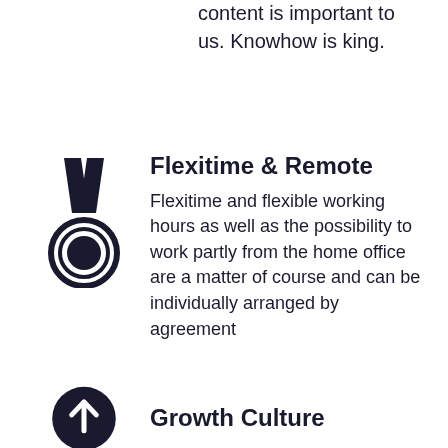content is important to us. Knowhow is king.
[Figure (illustration): Medal icon: two ribbon straps at top forming a V shape, circle with inner ring below, dark filled center]
Flexitime & Remote
Flexitime and flexible working hours as well as the possibility to work partly from the home office are a matter of course and can be individually arranged by agreement
[Figure (illustration): Circular icon with upward arrow inside, partially visible at bottom of page]
Growth Culture